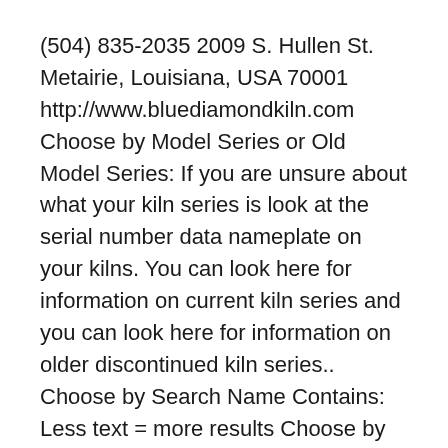(504) 835-2035 2009 S. Hullen St. Metairie, Louisiana, USA 70001 http://www.bluediamondkiln.com Choose by Model Series or Old Model Series: If you are unsure about what your kiln series is look at the serial number data nameplate on your kilns. You can look here for information on current kiln series and you can look here for information on older discontinued kiln series.. Choose by Search Name Contains: Less text = more results Choose by Part Number (X-X-XXX/XX): Fewer characters = more
Periodic kilns, which closely resemble an oven’s functionality, are most often used. Comblike coverings, directed downward, are b...